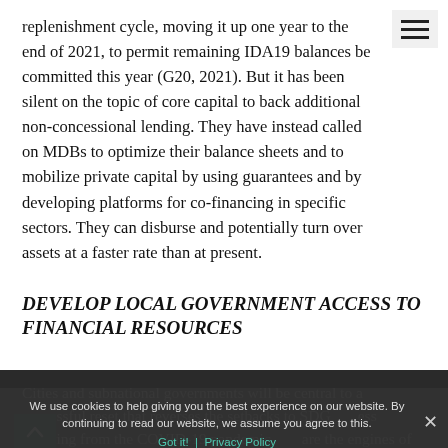replenishment cycle, moving it up one year to the end of 2021, to permit remaining IDA19 balances be committed this year (G20, 2021). But it has been silent on the topic of core capital to back additional non-concessional lending. They have instead called on MDBs to optimize their balance sheets and to mobilize private capital by using guarantees and by developing platforms for co-financing in specific sectors. They can disburse and potentially turn over assets at a faster rate than at present.
DEVELOP LOCAL GOVERNMENT ACCESS TO FINANCIAL RESOURCES
Cities and subnational governments will be central to a successful reset that reverses the setbacks to SDG progress resulting from the COVID-19 pandemic. [Cities] are the engines of economic growth, accounting for 80% of global GDP. They also